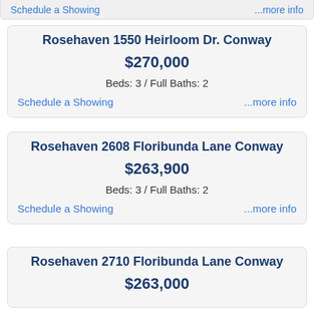Schedule a Showing    ...more info
Rosehaven 1550 Heirloom Dr. Conway
$270,000
Beds: 3 / Full Baths: 2
Schedule a Showing    ...more info
Rosehaven 2608 Floribunda Lane Conway
$263,900
Beds: 3 / Full Baths: 2
Schedule a Showing    ...more info
Rosehaven 2710 Floribunda Lane Conway
$263,000